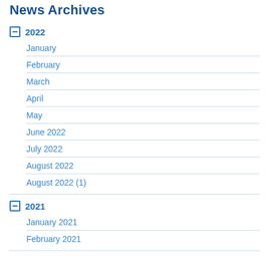News Archives
2022
January
February
March
April
May
June 2022
July 2022
August 2022
August 2022 (1)
2021
January 2021
February 2021